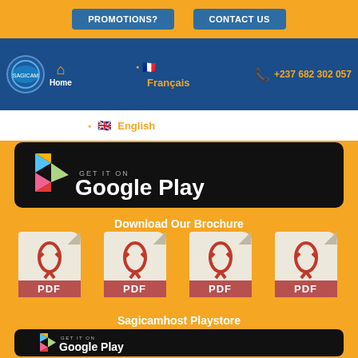[Figure (screenshot): Navigation bar with PROMOTIONS? and CONTACT US buttons on orange background]
[Figure (screenshot): Blue navigation bar with logo, home icon, language selector (Français/English with flags), and phone number +237 682 302 057]
[Figure (screenshot): Google Play store badge on black rounded rectangle background]
Download Our Brochure
[Figure (screenshot): Four PDF file icons in a row for brochure download]
Sagicamhost Playstore
[Figure (screenshot): GET IT ON Google Play badge on black rounded rectangle]